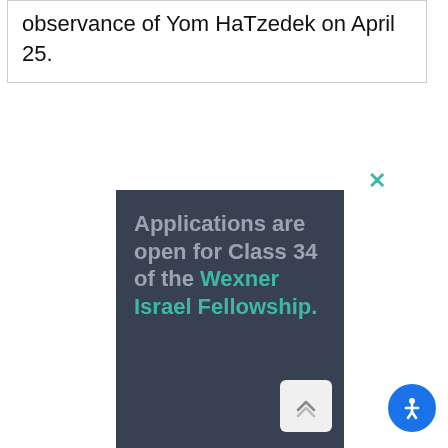observance of Yom HaTzedek on April 25.
[Figure (screenshot): Close (x) button in teal color for dismissing advertisement]
[Figure (infographic): Dark grey advertisement box with text: Applications are open for Class 34 of the Wexner Israel Fellowship. 'Wexner Israel Fellowship' text is in teal color.]
[Figure (other): Scroll-to-top button and blue circular accessibility icon button in bottom right corner]